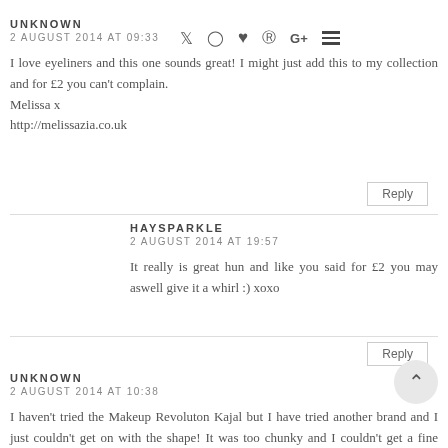UNKNOWN
2 AUGUST 2014 AT 09:33
I love eyeliners and this one sounds great! I might just add this to my collection and for £2 you can't complain.
Melissa x
http://melissazia.co.uk
Reply
HAYSPARKLE
2 AUGUST 2014 AT 19:57
It really is great hun and like you said for £2 you may aswell give it a whirl :) xoxo
Reply
UNKNOWN
2 AUGUST 2014 AT 10:38
I haven't tried the Makeup Revoluton Kajal but I have tried another brand and I just couldn't get on with the shape! It was too chunky and I couldn't get a fine enough line. How do you use it? xx Thou Shalt Not